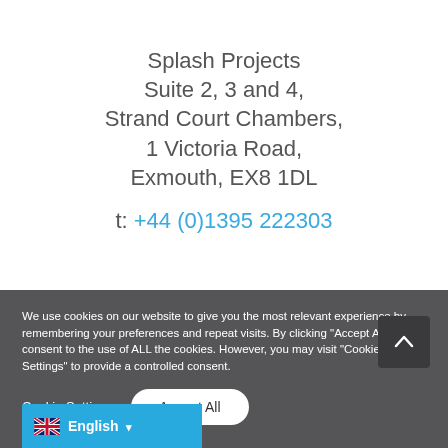Splash Projects
Suite 2, 3 and 4,
Strand Court Chambers,
1 Victoria Road,
Exmouth, EX8 1DL
t: +44 (0)1395 222303
We use cookies on our website to give you the most relevant experience by remembering your preferences and repeat visits. By clicking "Accept All", you consent to the use of ALL the cookies. However, you may visit "Cookie Settings" to provide a controlled consent.
Cookie Settings
Accept All
English ▼